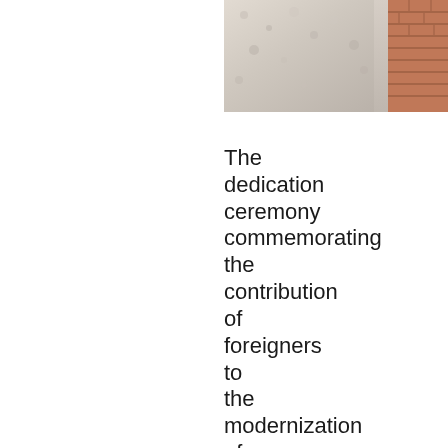[Figure (photo): Partial photo showing gravel/stone surface on the left and brick wall on the right, cropped at top-right of the page.]
The dedication ceremony commemorating the contribution of foreigners to the modernization of Japan was lightly attended by